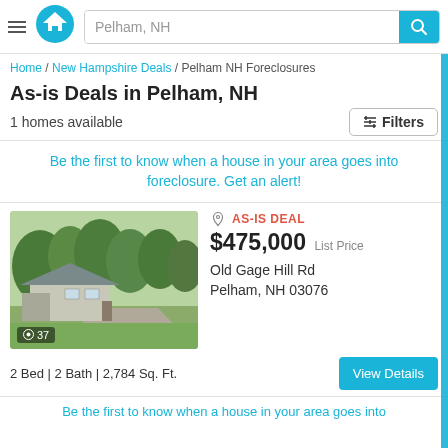Pelham, NH — search header with logo and search bar
Home / New Hampshire Deals / Pelham NH Foreclosures
As-is Deals in Pelham, NH
1 homes available
Filters
Be the first to know when a house in your area goes into foreclosure. Get an alert!
[Figure (photo): Exterior photo of a ranch-style house with trees in background, driveway in foreground. Photo count: 37]
AS-IS DEAL
$475,000 List Price
Old Gage Hill Rd
Pelham, NH 03076
2 Bed | 2 Bath | 2,784 Sq. Ft.
View Details
Be the first to know when a house in your area goes into